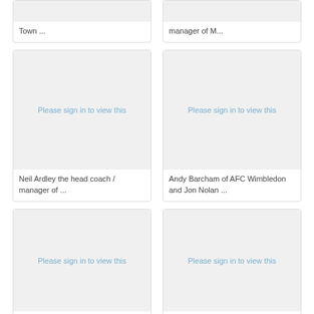[Figure (photo): Partial card top-left with sign-in placeholder]
Town ...
[Figure (photo): Partial card top-right with sign-in placeholder]
manager of M...
[Figure (photo): Card with sign-in placeholder - Neil Ardley]
Neil Ardley the head coach / manager of ...
[Figure (photo): Card with sign-in placeholder - Andy Barcham]
Andy Barcham of AFC Wimbledon and Jon Nolan ...
[Figure (photo): Card with sign-in placeholder bottom-left]
[Figure (photo): Card with sign-in placeholder bottom-right]